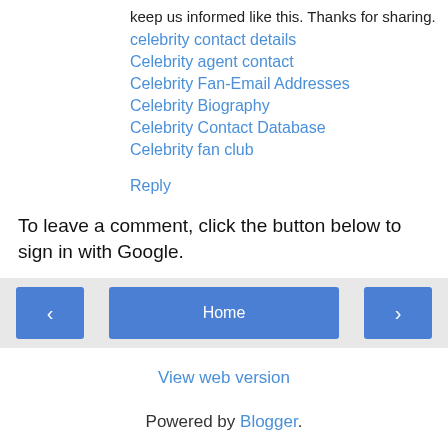keep us informed like this. Thanks for sharing.
celebrity contact details
Celebrity agent contact
Celebrity Fan-Email Addresses
Celebrity Biography
Celebrity Contact Database
Celebrity fan club
Reply
To leave a comment, click the button below to sign in with Google.
SIGN IN WITH GOOGLE
‹
Home
›
View web version
Powered by Blogger.